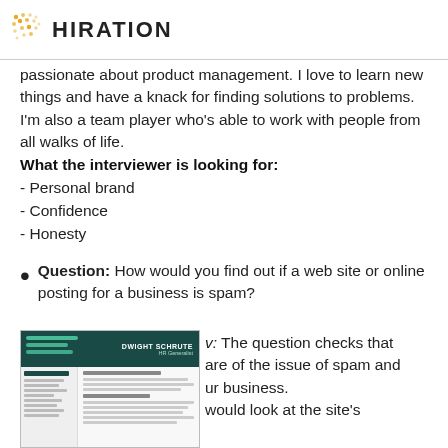HIRATION
passionate about product management. I love to learn new things and have a knack for finding solutions to problems. I'm also a team player who's able to work with people from all walks of life.
What the interviewer is looking for:
- Personal brand
- Confidence
- Honesty
Question: How would you find out if a web site or online posting for a business is spam?
The question checks that are of the issue of spam and ur business. would look at the site's
[Figure (screenshot): Thumbnail of a resume/CV document for Dwight Schrute, HR Generalist, with a dark teal header and resume content below.]